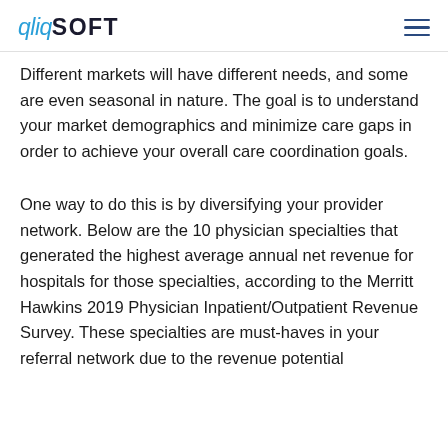qliqSOFT
Different markets will have different needs, and some are even seasonal in nature. The goal is to understand your market demographics and minimize care gaps in order to achieve your overall care coordination goals.
One way to do this is by diversifying your provider network. Below are the 10 physician specialties that generated the highest average annual net revenue for hospitals for those specialties, according to the Merritt Hawkins 2019 Physician Inpatient/Outpatient Revenue Survey. These specialties are must-haves in your referral network due to the revenue potential